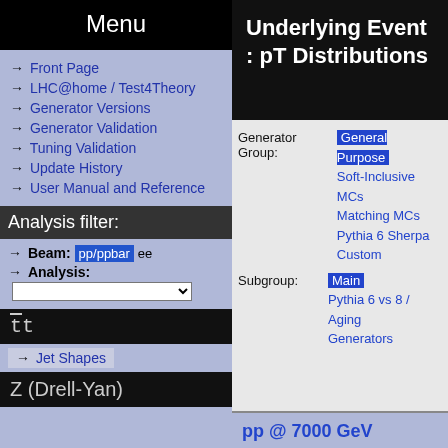Menu
Front Page
LHC@home / Test4Theory
Generator Versions
Generator Validation
Tuning Validation
Update History
User Manual and Reference
Analysis filter:
Beam: pp/ppbar ee
Analysis:
tt̄
Jet Shapes
Z (Drell-Yan)
Underlying Event : pT Distributions
Generator Group: General Purpose Soft-Inclusive MCs Matching MCs Pythia 6 Sherpa Custom
Subgroup: Main Pythia 6 vs 8 / Aging Generators
pp @ 7000 GeV